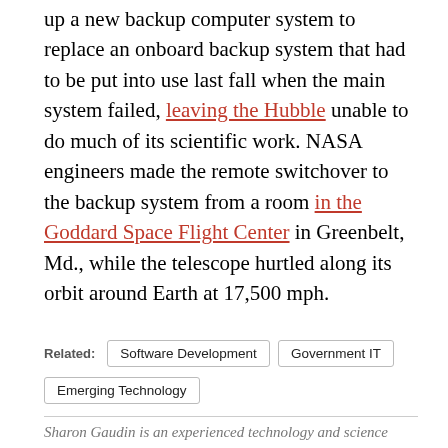up a new backup computer system to replace an onboard backup system that had to be put into use last fall when the main system failed, leaving the Hubble unable to do much of its scientific work. NASA engineers made the remote switchover to the backup system from a room in the Goddard Space Flight Center in Greenbelt, Md., while the telescope hurtled along its orbit around Earth at 17,500 mph.
Related: Software Development | Government IT | Emerging Technology
Sharon Gaudin is an experienced technology and science reporter.